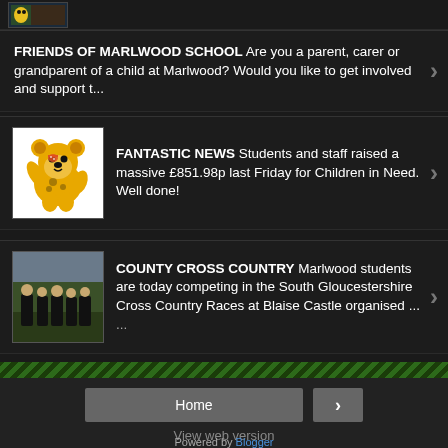[Figure (screenshot): Small thumbnail image at top, appears to be a game or video screenshot with yellow character]
FRIENDS OF MARLWOOD SCHOOL Are you a parent, carer or grandparent of a child at Marlwood?  Would you like to get involved and support t...
[Figure (illustration): Children in Need Pudsey Bear yellow mascot illustration]
FANTASTIC NEWS Students and staff raised a massive £851.98p last Friday for Children in Need. Well done!
[Figure (photo): Group of students in black uniforms standing outdoors for county cross country event]
COUNTY CROSS COUNTRY Marlwood students are today competing in the South Gloucestershire Cross Country Races at Blaise Castle organised ...
Home
View web version
Powered by Blogger